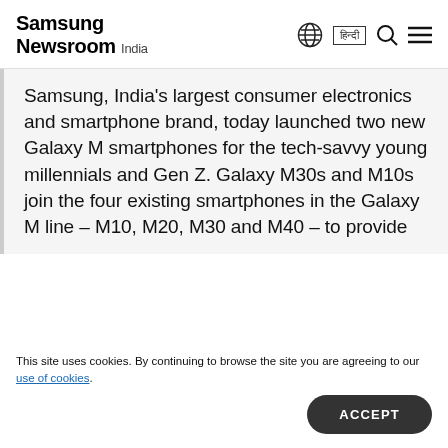Samsung Newsroom India
Samsung, India’s largest consumer electronics and smartphone brand, today launched two new Galaxy M smartphones for the tech-savvy young millennials and Gen Z. Galaxy M30s and M10s join the four existing smartphones in the Galaxy M line – M10, M20, M30 and M40 – to provide
This site uses cookies. By continuing to browse the site you are agreeing to our use of cookies.
ACCEPT